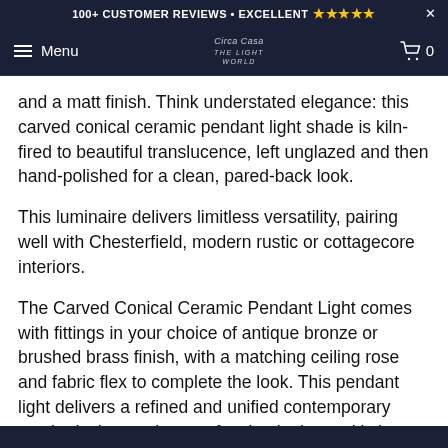100+ CUSTOMER REVIEWS • EXCELLENT ★★★★★
Menu  [logo]  0
and a matt finish. Think understated elegance: this carved conical ceramic pendant light shade is kiln-fired to beautiful translucence, left unglazed and then hand-polished for a clean, pared-back look.
This luminaire delivers limitless versatility, pairing well with Chesterfield, modern rustic or cottagecore interiors.
The Carved Conical Ceramic Pendant Light comes with fittings in your choice of antique bronze or brushed brass finish, with a matching ceiling rose and fabric flex to complete the look. This pendant light delivers a refined and unified contemporary aesthetic that works as a focal point in any kitchen, bedroom or living area.